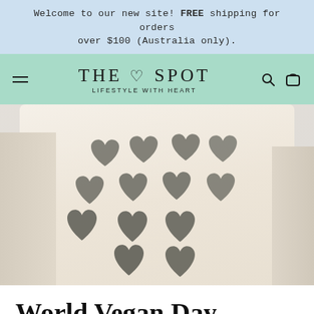Welcome to our new site! FREE shipping for orders over $100 (Australia only).
[Figure (logo): The Heart Spot logo with hamburger menu, search and cart icons on a mint green navigation bar. Logo reads 'THE ♡ SPOT' with tagline 'LIFESTYLE WITH HEART'.]
[Figure (photo): Close-up product photo of a cream/ivory sweatshirt with multiple glitter/sparkle dark heart patches arranged across the front chest area.]
World Vegan Day